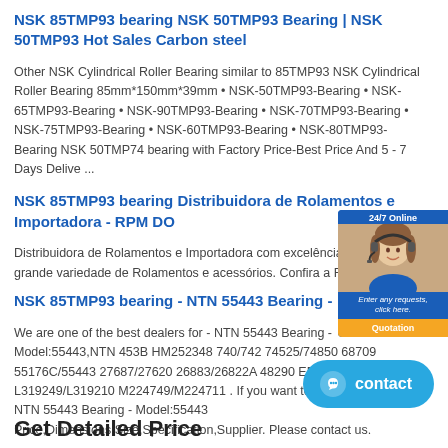NSK 85TMP93 bearing NSK 50TMP93 Bearing | NSK 50TMP93 Hot Sales Carbon steel
Other NSK Cylindrical Roller Bearing similar to 85TMP93 NSK Cylindrical Roller Bearing 85mm*150mm*39mm • NSK-50TMP93-Bearing • NSK-65TMP93-Bearing • NSK-90TMP93-Bearing • NSK-70TMP93-Bearing • NSK-75TMP93-Bearing • NSK-60TMP93-Bearing • NSK-80TMP93-Bearing NSK 50TMP74 bearing with Factory Price-Best Price And 5 - 7 Days Delive ...
NSK 85TMP93 bearing Distribuidora de Rolamentos e Importadora - RPM DO
Distribuidora de Rolamentos e Importadora com excelência no atendi grande variedade de Rolamentos e acessórios. Confira a RPM DO BR
NSK 85TMP93 bearing - NTN 55443 Bearing -
We are one of the best dealers for - NTN 55443 Bearing - Model:55443,NTN 453B HM252348 740/742 74525/74850 68709 55176C/55443 27687/27620 26883/26822A 48290 EE128111/128160 L319249/L319210 M224749/M224711 . If you want to understand the - NTN 55443 Bearing - Model:55443 Price,Dimensions,Size,Specification,Supplier. Please contact us.
Get Detailed Price